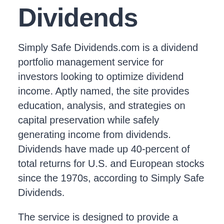Dividends
Simply Safe Dividends.com is a dividend portfolio management service for investors looking to optimize dividend income. Aptly named, the site provides education, analysis, and strategies on capital preservation while safely generating income from dividends. Dividends have made up 40-percent of total returns for U.S. and European stocks since the 1970s, according to Simply Safe Dividends.
The service is designed to provide a concise overview of your dividend stocks